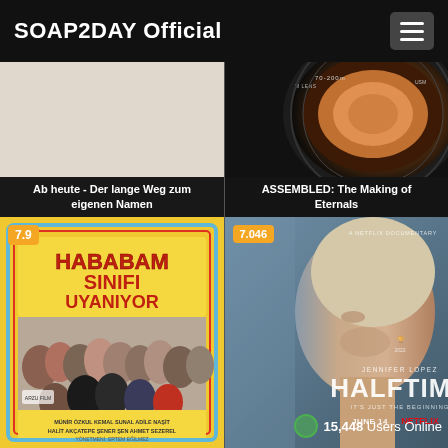SOAP2DAY Official
[Figure (screenshot): Movie card: Ab heute - Der lange Weg zum eigenen Namen, light beige/tan background]
Ab heute - Der lange Weg zum eigenen Namen
[Figure (photo): Movie card: ASSEMBLED: The Making of Eternals, camera lens close-up photo]
ASSEMBLED: The Making of Eternals
[Figure (photo): Movie poster: Hababam Sinifi Uyaniyor, rated 7.9, yellow/red Turkish film poster with group of students]
[Figure (photo): Movie poster: Jennifer Lopez Halftime Netflix documentary, rated 7.046, profile portrait of Jennifer Lopez]
15,448 Users Online